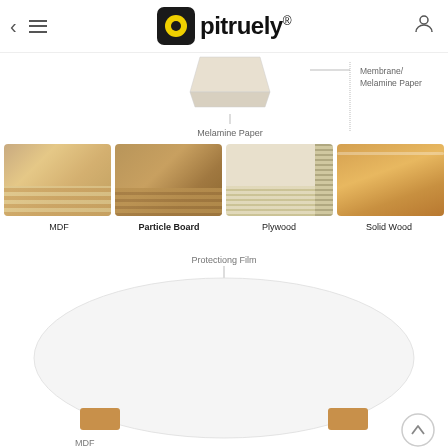Opitruely
[Figure (infographic): Diagram showing melamine paper layered on board material with labels: Melamine Paper (center) and Membrane/Melamine Paper (right)]
[Figure (photo): Four wood material photos side by side: MDF, Particle Board, Plywood, Solid Wood]
MDF    Particle Board    Plywood    Solid Wood
[Figure (infographic): Diagram of a panel cross-section showing Protection Film label with arrow, and at bottom MDF material with protective film layers visible]